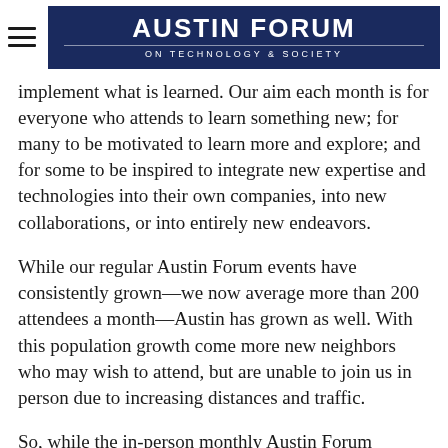AUSTIN FORUM ON TECHNOLOGY & SOCIETY
implement what is learned. Our aim each month is for everyone who attends to learn something new; for many to be motivated to learn more and explore; and for some to be inspired to integrate new expertise and technologies into their own companies, into new collaborations, or into entirely new endeavors.
While our regular Austin Forum events have consistently grown—we now average more than 200 attendees a month—Austin has grown as well. With this population growth come more new neighbors who may wish to attend, but are unable to join us in person due to increasing distances and traffic.
So, while the in-person monthly Austin Forum